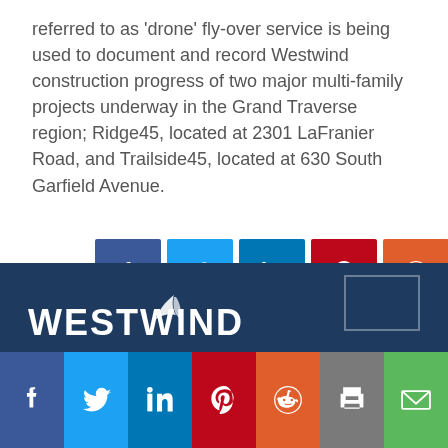referred to as 'drone' fly-over service is being used to document and record Westwind construction progress of two major multi-family projects underway in the Grand Traverse region; Ridge45, located at 2301 LaFranier Road, and Trailside45, located at 630 South Garfield Avenue.
[Figure (infographic): Social media share buttons row: SHARE: Facebook (blue), Twitter (light blue), LinkedIn (dark blue), Pinterest (dark red), Reddit (orange), Print (gray), Email (green)]
[Figure (logo): Westwind company logo in white on dark blue background]
[Figure (infographic): Bottom bar with full-width social share buttons: Facebook (dark blue), Twitter (light blue), LinkedIn (dark blue), Pinterest (dark red), Reddit (orange), Print (gray), Email (green)]